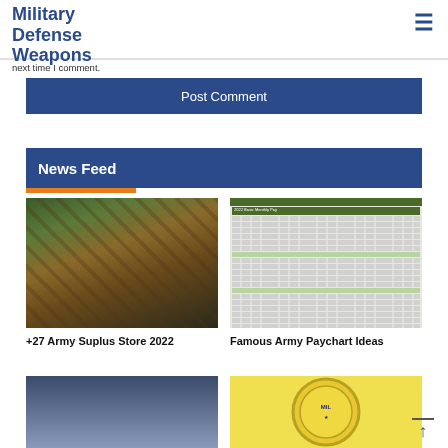Military Defense Weapons
next time I comment.
Post Comment
News Feed
[Figure (photo): Interior of Army surplus store with military flags, clothing racks, and merchandise]
+27 Army Suplus Store 2022
[Figure (table-as-image): Army pay chart table with rows of military pay grade data]
Famous Army Paychart Ideas
[Figure (photo): Outdoor scene with people]
[Figure (logo): Military organization circular logo with gold/yellow coloring]